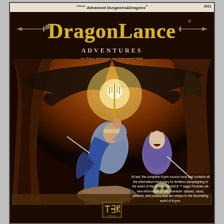Official Advanced Dungeons & Dragons®
DRAGONLANCE
ADVENTURES
by Tracy Hickman and Margaret Weis
[Figure (illustration): Fantasy cover art showing two armored warriors in a cave setting with a large dragon looming behind them. The central figure raises a glowing trident/weapon aloft while another crowned figure stands beside. A defeated enemy lies at their feet. The scene is lit with orange and gold tones.]
At last, the complete Krynn source book that contains all the information necessary for limitless campaigning in the world of the DRAGONLANCE™ saga! Provides all-new information on the character classes, races, artifacts, and powers that are unique to the fascinating world of Krynn.
[Figure (logo): TSR logo — stylized letters TSR with a decorative frame]
2021